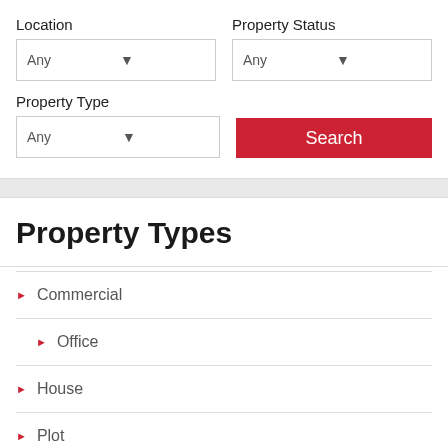Location
Property Status
Property Type
Search
Property Types
Commercial
Office
House
Plot
Residential